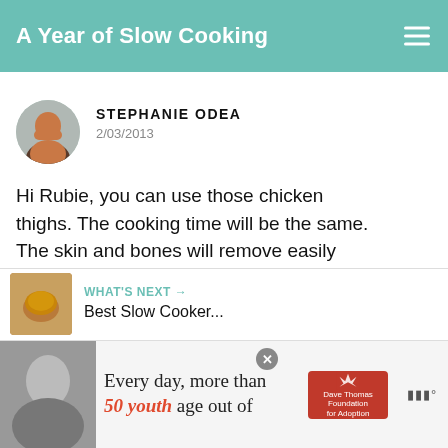A Year of Slow Cooking
STEPHANIE ODEA
2/03/2013
Hi Rubie, you can use those chicken thighs. The cooking time will be the same. The skin and bones will remove easily after cooking. enjoy!
DELETE
WHAT'S NEXT → Best Slow Cooker...
[Figure (screenshot): Advertisement banner: Every day, more than 50 youth age out of [Dave Thomas Foundation for Adoption logo]]